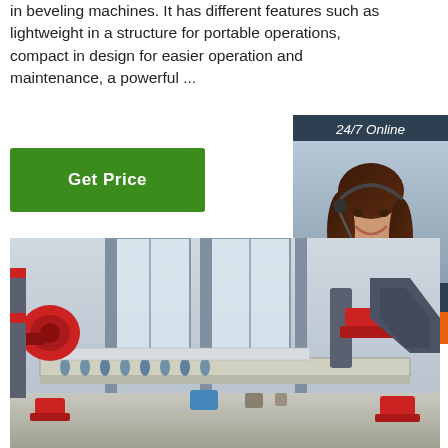in beveling machines. It has different features such as lightweight in a structure for portable operations, compact in design for easier operation and maintenance, a powerful ...
[Figure (other): Green 'Get Price' button]
[Figure (other): 24/7 Online chat widget with agent photo, 'Click here for free chat!' text, and orange QUOTATION button]
[Figure (photo): Industrial beveling machine in a factory setting with roller conveyor and red mechanical components]